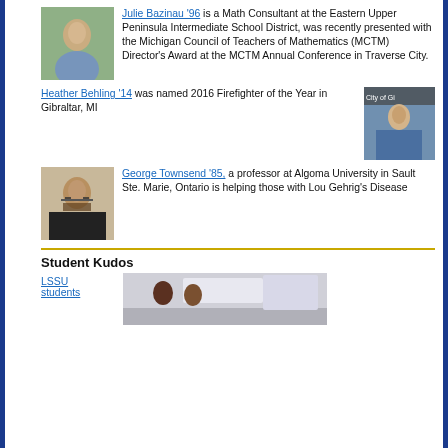[Figure (photo): Photo of Julie Bazinau, a woman outdoors]
Julie Bazinau '96 is a Math Consultant at the Eastern Upper Peninsula Intermediate School District, was recently presented with the Michigan Council of Teachers of Mathematics (MCTM) Director's Award at the MCTM Annual Conference in Traverse City.
Heather Behling '14 was named 2016 Firefighter of the Year in Gibraltar, MI
[Figure (photo): Photo of Heather Behling in firefighter uniform, City of Gibraltar sign in background]
[Figure (photo): Photo of George Townsend, a man with glasses and beard]
George Townsend '85, a professor at Algoma University in Sault Ste. Marie, Ontario is helping those with Lou Gehrig's Disease
Student Kudos
LSSU students
[Figure (photo): Photo of LSSU students in a classroom]